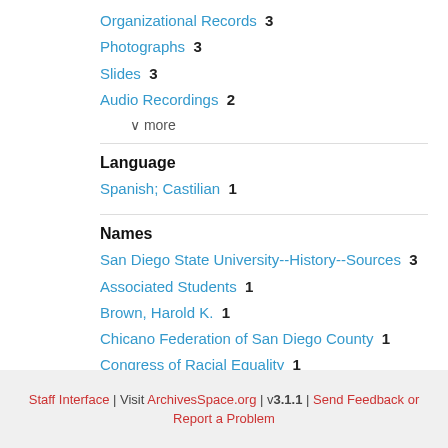Organizational Records 3
Photographs 3
Slides 3
Audio Recordings 2
∨ more
Language
Spanish; Castilian 1
Names
San Diego State University--History--Sources 3
Associated Students 1
Brown, Harold K. 1
Chicano Federation of San Diego County 1
Congress of Racial Equality 1
∨ more
Staff Interface | Visit ArchivesSpace.org | v3.1.1 | Send Feedback or Report a Problem